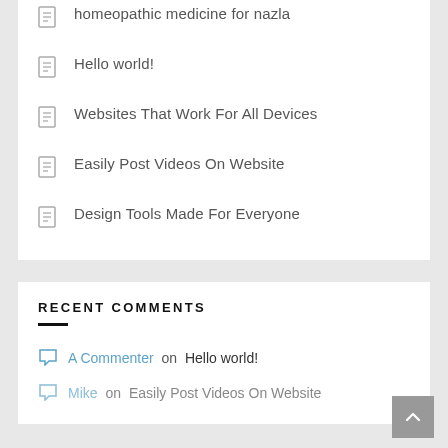homeopathic medicine for nazla
Hello world!
Websites That Work For All Devices
Easily Post Videos On Website
Design Tools Made For Everyone
RECENT COMMENTS
A Commenter on Hello world!
Mike on Easily Post Videos On Website